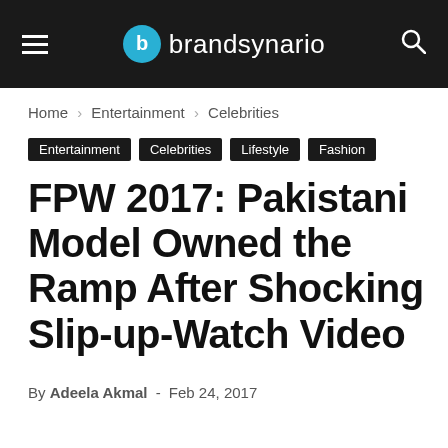brandsynario
Home › Entertainment › Celebrities
Entertainment  Celebrities  Lifestyle  Fashion
FPW 2017: Pakistani Model Owned the Ramp After Shocking Slip-up-Watch Video
By Adeela Akmal - Feb 24, 2017